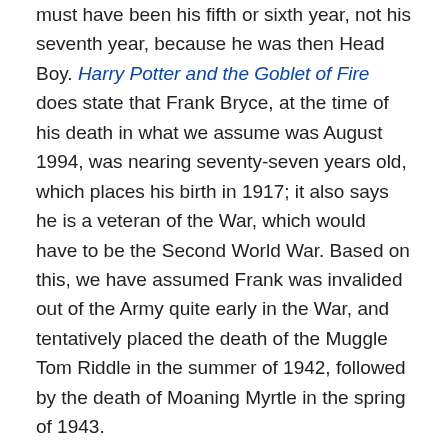must have been his fifth or sixth year, not his seventh year, because he was then Head Boy. Harry Potter and the Goblet of Fire does state that Frank Bryce, at the time of his death in what we assume was August 1994, was nearing seventy-seven years old, which places his birth in 1917; it also says he is a veteran of the War, which would have to be the Second World War. Based on this, we have assumed Frank was invalided out of the Army quite early in the War, and tentatively placed the death of the Muggle Tom Riddle in the summer of 1942, followed by the death of Moaning Myrtle in the spring of 1943.
Hallowe'en
It is interesting to see how many things seem to happen on Hallowe'en. Before the series starts, we have Nearly Headless Nick's death day. Harry's parents are murdered on Hallowe'en, and the troll is let into the school on